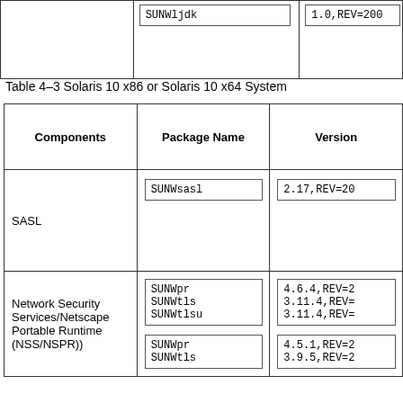|  | Package Name | Version |
| --- | --- | --- |
|  | SUNWljdk | 1.0,REV=200... |
Table 4–3 Solaris 10 x86 or Solaris 10 x64 System
| Components | Package Name | Version |
| --- | --- | --- |
| SASL | SUNWsasl | 2.17,REV=20... |
| Network Security Services/Netscape Portable Runtime (NSS/NSPR)) | SUNWpr
SUNWtls
SUNWtlsu | 4.6.4,REV=2...
3.11.4,REV=...
3.11.4,REV=... |
|  | SUNWpr
SUNWtls | 4.5.1,REV=2...
3.9.5,REV=2... |